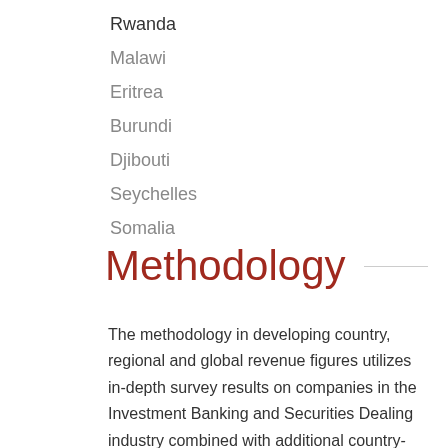Rwanda
Malawi
Eritrea
Burundi
Djibouti
Seychelles
Somalia
Methodology
The methodology in developing country, regional and global revenue figures utilizes in-depth survey results on companies in the Investment Banking and Securities Dealing industry combined with additional country-specific metadata. Forecasts are